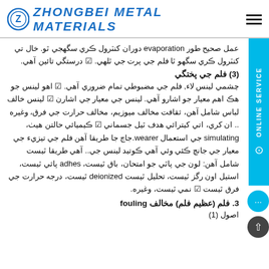ZHONGBEI METAL MATERIALS
عمل صحيح طور evaporation دوران کنٽرول ڪري سگهجي ٿو. خال تي کنٽرول ڪري سگهو ٿا فلم جي پرت جي ٿلهي. ⬛ درستگي تائين آهي.
(3) فلم جي پختگي
چشمي لينس لاء, فلم جي مضبوطي تمام ضروري آهي. ⬛ اهو لينس جو هڪ اهم معيار جو اشاروَ آهي. لينس جي معيار جي اشارن ⬛ لينس خالف لباس شامل آهن، ثقافت مخالف ميوزيم، مخالف حرارت جي فرق، وغيره .. ان کري، اتي کيترائي هدف ٿيل جسماني ⬛ ڪيميائي حالتن هيٺ، simulating جي استعمال wearer.جاچ جا طريقا آهن فلم جي تيزيء جي معيار جي جانچ ڪئي وئي آهي ڪوتيد لينس جي.. آهي طريقا ٿيست شامل آهن: لون جي پاٿي جو امتحان، باق ٿيست، adhes پاثي ٿيست، استيل اون رگز ٿيست، تحليل ٿيست deionized ٿيست، درجه حرارت جي فرق ٿيست ⬛ نمي ٿيست، وغيره.
3. فلم (عظيم فلم) مخالف fouling
اصول (1)